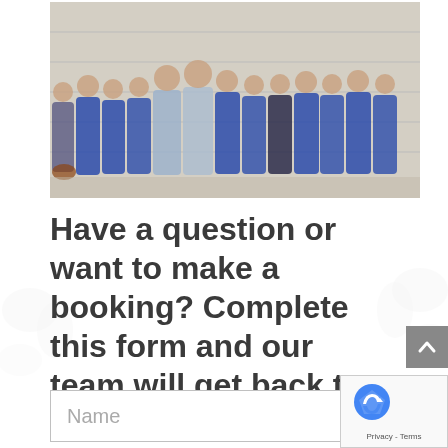[Figure (photo): Group photo of approximately 12 team members (mostly women, two men) wearing blue polo shirts, standing in a line against a corrugated metal wall. A dog is visible at the far left.]
Have a question or want to make a booking? Complete this form and our team will get back to you shortly.
[Figure (other): A grey scroll-to-top button with an upward chevron arrow icon]
[Figure (other): Google reCAPTCHA badge with logo and Privacy - Terms links]
Name